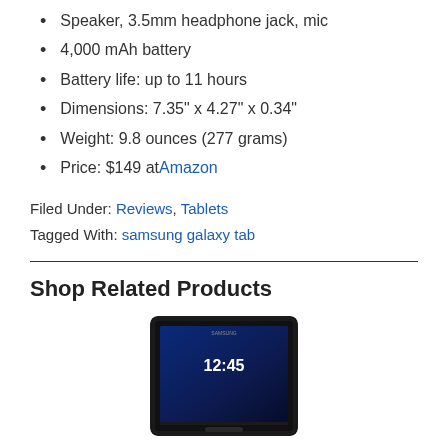Speaker, 3.5mm headphone jack, mic
4,000 mAh battery
Battery life: up to 11 hours
Dimensions: 7.35" x 4.27" x 0.34"
Weight: 9.8 ounces (277 grams)
Price: $149 at Amazon
Filed Under: Reviews, Tablets
Tagged With: samsung galaxy tab
Shop Related Products
[Figure (photo): Samsung Galaxy Tab tablet showing homescreen with time 12:45 displayed, black device against dark blue background]